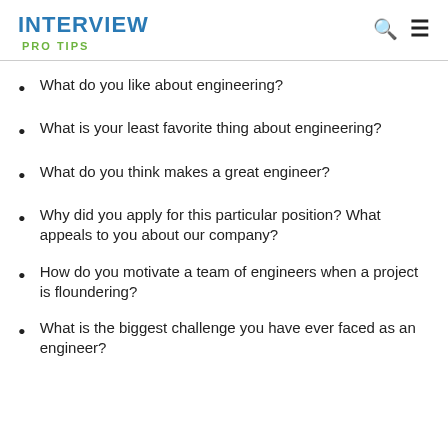INTERVIEW
PRO TIPS
What do you like about engineering?
What is your least favorite thing about engineering?
What do you think makes a great engineer?
Why did you apply for this particular position? What appeals to you about our company?
How do you motivate a team of engineers when a project is floundering?
What is the biggest challenge you have ever faced as an engineer?